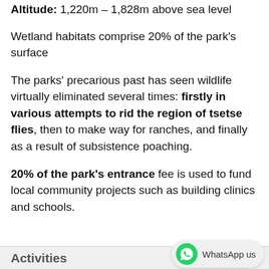Altitude: 1,220m – 1,828m above sea level
Wetland habitats comprise 20% of the park's surface
The parks' precarious past has seen wildlife virtually eliminated several times: firstly in various attempts to rid the region of tsetse flies, then to make way for ranches, and finally as a result of subsistence poaching.
20% of the park's entrance fee is used to fund local community projects such as building clinics and schools.
Activities